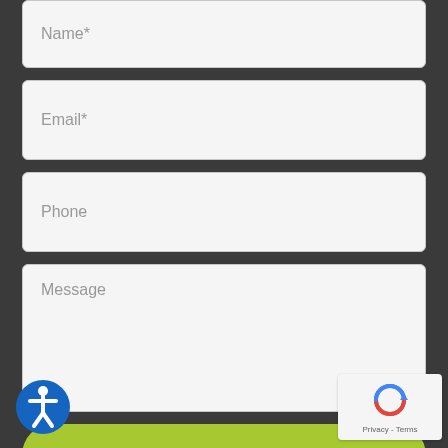Name*
Email*
Phone
Message
GET HELP NOW
[Figure (illustration): Accessibility icon - blue circle with white person figure]
[Figure (illustration): reCAPTCHA badge with robot icon and Privacy - Terms text]